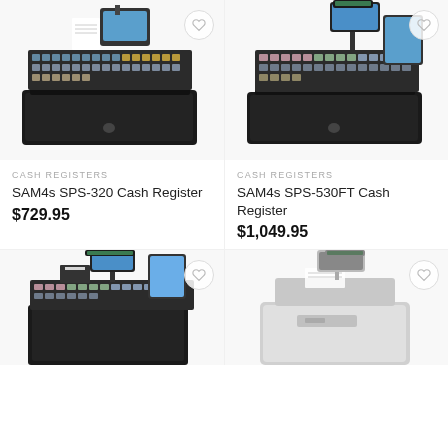[Figure (photo): SAM4s SPS-320 Cash Register - black cash register with flat keyboard panel and touch screen display, shown on white background with wishlist heart icon]
CASH REGISTERS
SAM4s SPS-320 Cash Register
$729.95
[Figure (photo): SAM4s SPS-530FT Cash Register - black cash register with raised display screen and flat keyboard, shown on white background with wishlist heart icon]
CASH REGISTERS
SAM4s SPS-530FT Cash Register
$1,049.95
[Figure (photo): Partial view of a black cash register with touchscreen and receipt printer, bottom cropped, with wishlist heart icon]
[Figure (photo): Partial view of a white/light-colored cash register, bottom cropped, with wishlist heart icon]